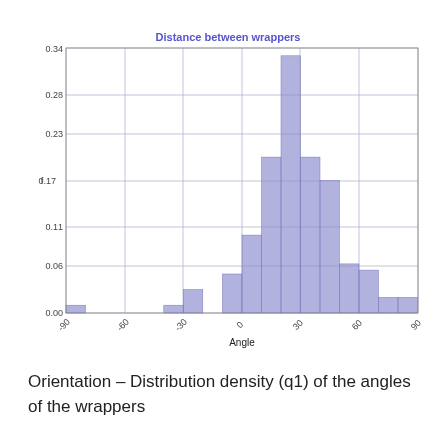[Figure (histogram): Distance between wrappers]
Orientation – Distribution density (q1) of the angles of the wrappers